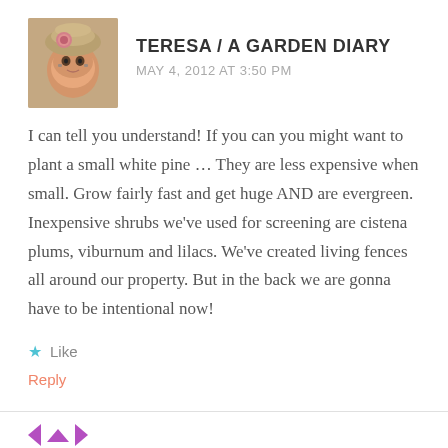[Figure (photo): Avatar photo of Teresa / A Garden Diary — a woman wearing a hat with a flower and glasses]
TERESA / A GARDEN DIARY
MAY 4, 2012 AT 3:50 PM
I can tell you understand! If you can you might want to plant a small white pine … They are less expensive when small. Grow fairly fast and get huge AND are evergreen. Inexpensive shrubs we've used for screening are cistena plums, viburnum and lilacs. We've created living fences all around our property. But in the back we are gonna have to be intentional now!
★ Like
Reply